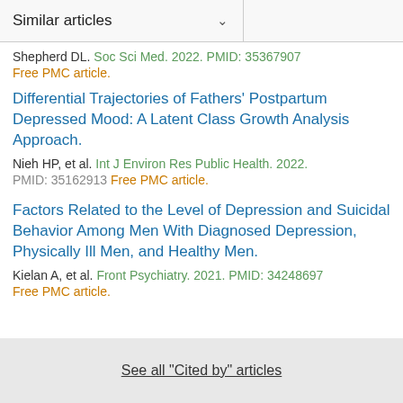Similar articles
Shepherd DL. Soc Sci Med. 2022. PMID: 35367907
Free PMC article.
Differential Trajectories of Fathers' Postpartum Depressed Mood: A Latent Class Growth Analysis Approach.
Nieh HP, et al. Int J Environ Res Public Health. 2022. PMID: 35162913 Free PMC article.
Factors Related to the Level of Depression and Suicidal Behavior Among Men With Diagnosed Depression, Physically Ill Men, and Healthy Men.
Kielan A, et al. Front Psychiatry. 2021. PMID: 34248697
Free PMC article.
See all "Cited by" articles